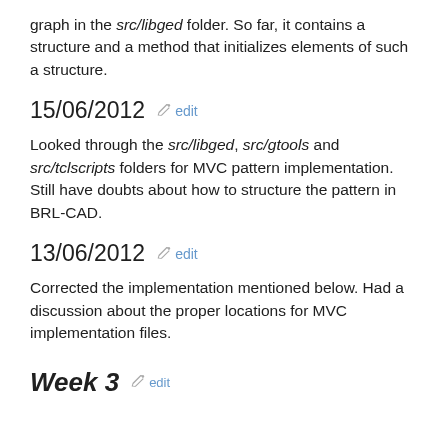graph in the src/libged folder. So far, it contains a structure and a method that initializes elements of such a structure.
15/06/2012  edit
Looked through the src/libged, src/gtools and src/tclscripts folders for MVC pattern implementation. Still have doubts about how to structure the pattern in BRL-CAD.
13/06/2012  edit
Corrected the implementation mentioned below. Had a discussion about the proper locations for MVC implementation files.
Week 3  edit